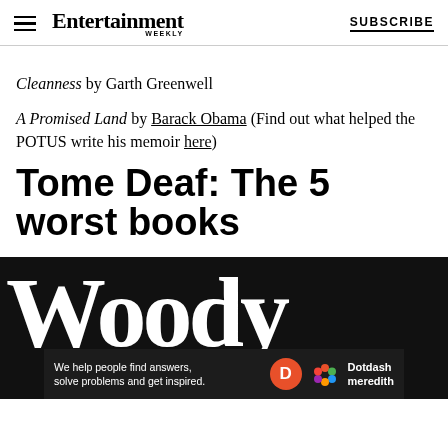Entertainment Weekly  SUBSCRIBE
Cleanness by Garth Greenwell
A Promised Land by Barack Obama (Find out what helped the POTUS write his memoir here)
Tome Deaf: The 5 worst books
[Figure (photo): Dark background with large white serif text reading 'Woody' partially visible, with a Dotdash Meredith advertisement banner overlaid at the bottom]